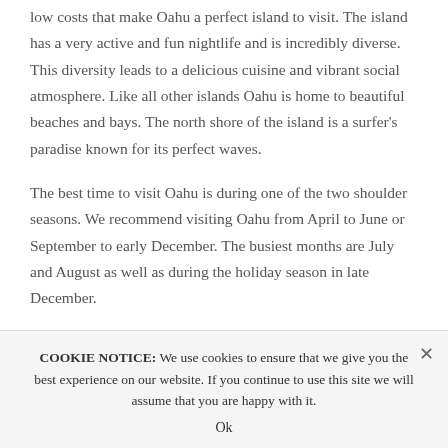low costs that make Oahu a perfect island to visit. The island has a very active and fun nightlife and is incredibly diverse. This diversity leads to a delicious cuisine and vibrant social atmosphere. Like all other islands Oahu is home to beautiful beaches and bays. The north shore of the island is a surfer's paradise known for its perfect waves.
The best time to visit Oahu is during one of the two shoulder seasons. We recommend visiting Oahu from April to June or September to early December. The busiest months are July and August as well as during the holiday season in late December.
COOKIE NOTICE: We use cookies to ensure that we give you the best experience on our website. If you continue to use this site we will assume that you are happy with it.
Ok